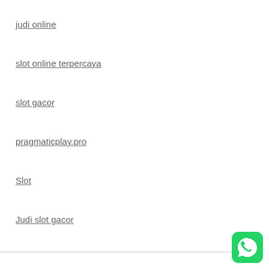judi online
slot online terpercaya
slot gacor
pragmaticplay.pro
Slot
Judi slot gacor
[Figure (illustration): WhatsApp icon — green rounded square with white speech bubble phone logo]